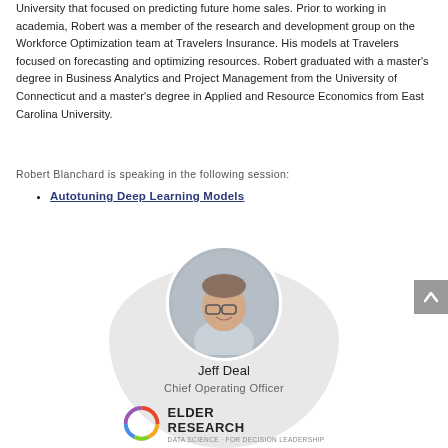University that focused on predicting future home sales. Prior to working in academia, Robert was a member of the research and development group on the Workforce Optimization team at Travelers Insurance. His models at Travelers focused on forecasting and optimizing resources. Robert graduated with a master's degree in Business Analytics and Project Management from the University of Connecticut and a master's degree in Applied and Resource Economics from East Carolina University.
Robert Blanchard is speaking in the following session:
Autotuning Deep Learning Models
[Figure (photo): Circular profile photo of Jeff Deal, a middle-aged man with glasses, against a light gray oval background]
Jeff Deal
Chief Operating Officer
[Figure (logo): Elder Research logo with circular multicolor ring icon and text reading ELDER RESEARCH with tagline 'Data Science... for decision leadership']